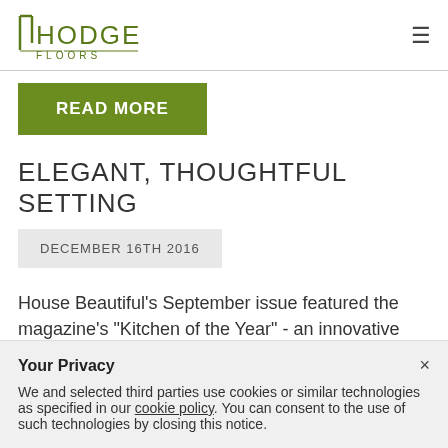[Figure (logo): Hodge Floors logo with stylized H and floors text]
READ MORE
ELEGANT, THOUGHTFUL SETTING
DECEMBER 16TH 2016
House Beautiful's September issue featured the magazine's "Kitchen of the Year" - an innovative and
Your Privacy
We and selected third parties use cookies or similar technologies as specified in our cookie policy. You can consent to the use of such technologies by closing this notice.